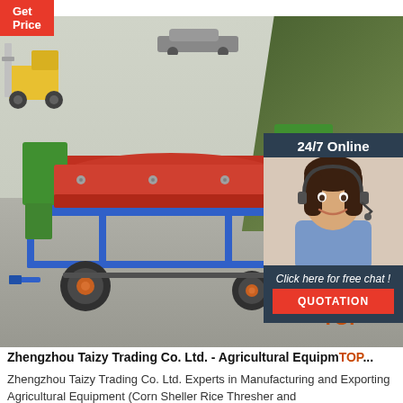[Figure (photo): Get Price button (red) at top left]
[Figure (photo): Photo of agricultural machine (corn sheller/rice thresher) on blue metal frame with orange wheels, shown in outdoor setting. Overlaid with 24/7 Online chat widget and TOP watermark. Machine is red/green/blue colored, sitting on concrete ground with forklifts and greenery in background.]
Zhengzhou Taizy Trading Co. Ltd. - Agricultural Equipment...
Zhengzhou Taizy Trading Co. Ltd. Experts in Manufacturing and Exporting Agricultural Equipment (Corn Sheller Rice Thresher and